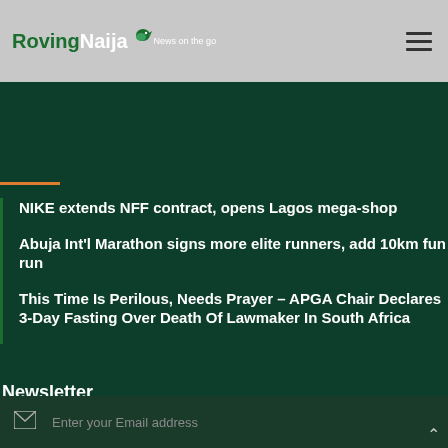Roving Naija — News on the go
Most Viewed Posts
NIKE extends NFF contract, opens Lagos mega-shop
Abuja Int'l Marathon signs more elite runners, add 10km fun run
This Time Is Perilous, Needs Prayer – APGA Chair Declares 3-Day Fasting Over Death Of Lawmaker In South Africa
Newsletter
Subscribe to our mailing list to get the new updates!
Enter your Email address